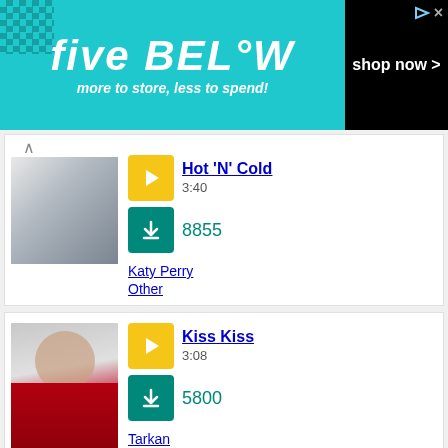[Figure (infographic): Five Below advertisement banner: teal background with text 'five BELOW more to store, less to spend!' and 'shop now >' on black background]
Hot 'N' Cold
3:40
8855
Katy Perry
Other
Kiss Kiss
3:08
5800
Tarkan
Other